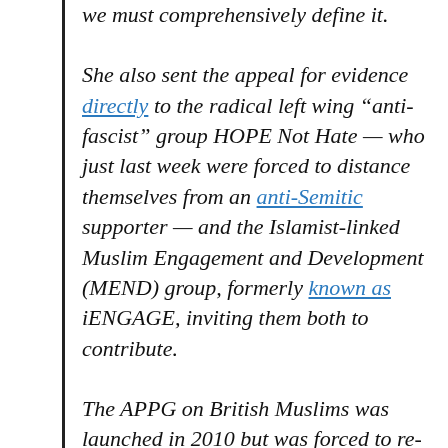we must comprehensively define it.
She also sent the appeal for evidence directly to the radical left wing “anti-fascist” group HOPE Not Hate — who just last week were forced to distance themselves from an anti-Semitic supporter — and the Islamist-linked Muslim Engagement and Development (MEND) group, formerly known as iENGAGE, inviting them both to contribute.
The APPG on British Muslims was launched in 2010 but was forced to re-launch the following year after a Tory MP and Labour Peer quit when